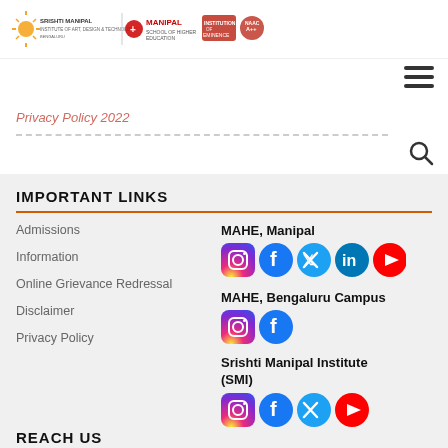[Figure (logo): Srishti Manipal Institute logos and partner institution badges in header]
[Figure (infographic): Hamburger menu icon (three horizontal lines)]
Privacy Policy 2022
[Figure (infographic): Search magnifying glass icon]
IMPORTANT LINKS
Admissions
Information
Online Grievance Redressal
Disclaimer
Privacy Policy
MAHE, Manipal
[Figure (infographic): Social media icons for MAHE Manipal: Instagram, Facebook, Twitter, LinkedIn, YouTube]
MAHE, Bengaluru Campus
[Figure (infographic): Social media icons for MAHE Bengaluru Campus: Instagram, Facebook]
Srishti Manipal Institute (SMI)
[Figure (infographic): Social media icons for Srishti Manipal Institute: Instagram, Facebook, Twitter, YouTube]
REACH US